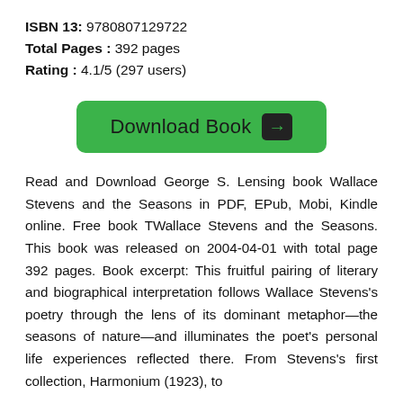ISBN 13: 9780807129722
Total Pages : 392 pages
Rating : 4.1/5 (297 users)
[Figure (other): Green 'Download Book' button with arrow icon]
Read and Download George S. Lensing book Wallace Stevens and the Seasons in PDF, EPub, Mobi, Kindle online. Free book TWallace Stevens and the Seasons. This book was released on 2004-04-01 with total page 392 pages. Book excerpt: This fruitful pairing of literary and biographical interpretation follows Wallace Stevens’s poetry through the lens of its dominant metaphor—the seasons of nature—and illuminates the poet’s personal life experiences reflected there. From Stevens’s first collection, Harmonium (1923), to